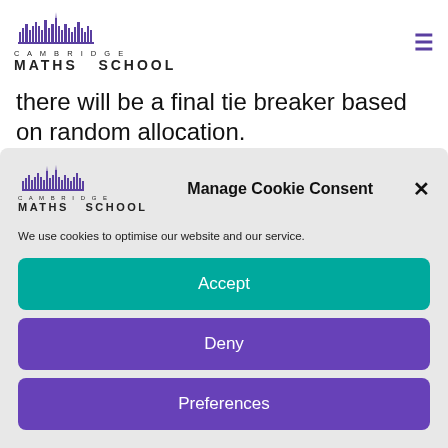Cambridge Maths School
there will be a final tie breaker based on random allocation.
Manage Cookie Consent
We use cookies to optimise our website and our service.
Accept
Deny
Preferences